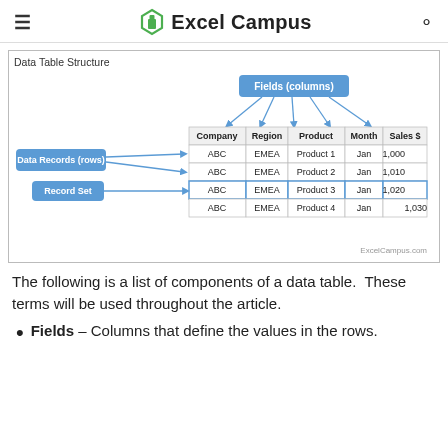≡  Excel Campus  🔍
[Figure (infographic): Data Table Structure diagram showing Fields (columns) pointing down to a table with columns Company, Region, Product, Month, Sales $. Data Records (rows) label with arrows pointing to rows. Record Set label pointing to a highlighted row. Table rows: ABC EMEA Product 1 Jan 1,000 / ABC EMEA Product 2 Jan 1,010 / ABC EMEA Product 3 Jan 1,020 / ABC EMEA Product 4 Jan 1,030. ExcelCampus.com watermark.]
The following is a list of components of a data table.  These terms will be used throughout the article.
Fields – Columns that define the values in the rows.